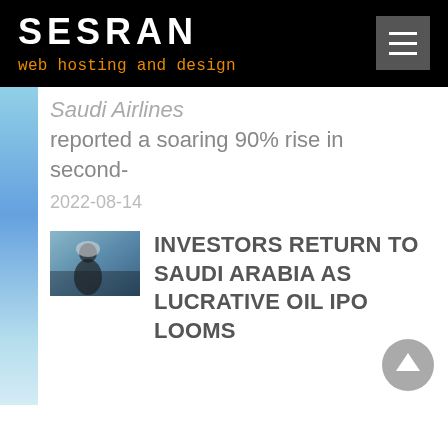SESRAN
web hosting and design
Saudi Airlines reported a soaring 90% rise in second-
2022-08-14
INVESTORS RETURN TO SAUDI ARABIA AS LUCRATIVE OIL IPO LOOMS